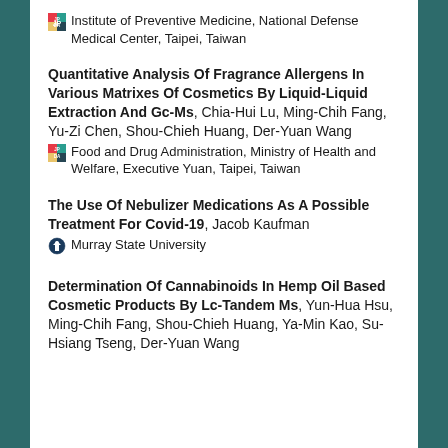Institute of Preventive Medicine, National Defense Medical Center, Taipei, Taiwan
Quantitative Analysis Of Fragrance Allergens In Various Matrixes Of Cosmetics By Liquid-Liquid Extraction And Gc-Ms, Chia-Hui Lu, Ming-Chih Fang, Yu-Zi Chen, Shou-Chieh Huang, Der-Yuan Wang
Food and Drug Administration, Ministry of Health and Welfare, Executive Yuan, Taipei, Taiwan
The Use Of Nebulizer Medications As A Possible Treatment For Covid-19, Jacob Kaufman
Murray State University
Determination Of Cannabinoids In Hemp Oil Based Cosmetic Products By Lc-Tandem Ms, Yun-Hua Hsu, Ming-Chih Fang, Shou-Chieh Huang, Ya-Min Kao, Su-Hsiang Tseng, Der-Yuan Wang